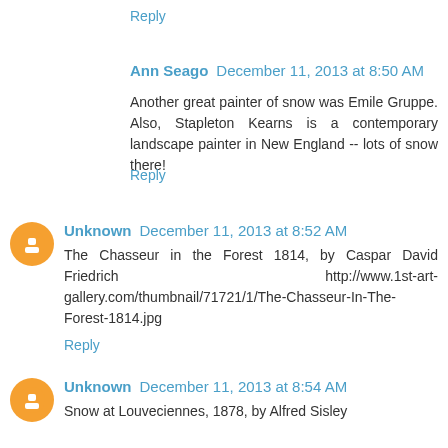Reply
Ann Seago  December 11, 2013 at 8:50 AM
Another great painter of snow was Emile Gruppe. Also, Stapleton Kearns is a contemporary landscape painter in New England -- lots of snow there!
Reply
Unknown  December 11, 2013 at 8:52 AM
The Chasseur in the Forest 1814, by Caspar David Friedrich http://www.1st-art-gallery.com/thumbnail/71721/1/The-Chasseur-In-The-Forest-1814.jpg
Reply
Unknown  December 11, 2013 at 8:54 AM
Snow at Louveciennes, 1878, by Alfred Sisley